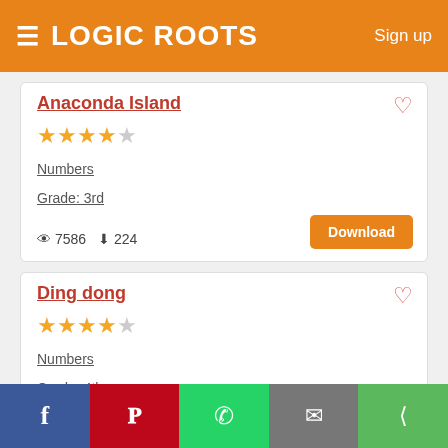Logic Roots — Sign up
Anaconda Island
★★★★☆ (4.5 stars)  Numbers  Grade: 3rd  👁 7586  ⬇ 224  Download
Ding dong
★★★★☆ (4.5 stars)  Numbers  Grade: 4th  👁 9041  ⬇ 535  Download
Social share bar: Facebook, Pinterest, WhatsApp, Email, Share